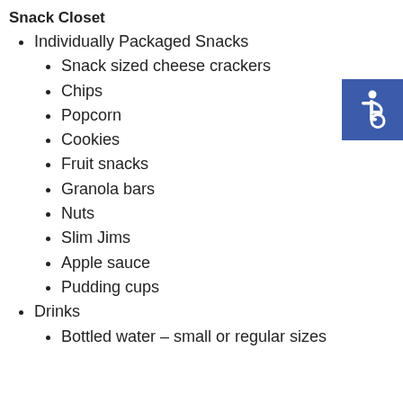Snack Closet
Individually Packaged Snacks
Snack sized cheese crackers
Chips
Popcorn
Cookies
Fruit snacks
Granola bars
Nuts
Slim Jims
Apple sauce
Pudding cups
Drinks
Bottled water – small or regular sizes
[Figure (illustration): International Symbol of Access (wheelchair accessibility icon) — white figure on blue background]